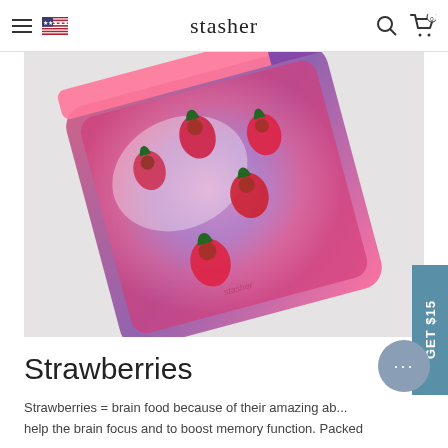stasher
[Figure (photo): A transparent silicone Stasher bag in pink/purple gradient color containing five fresh strawberries, photographed from above on a light gray background. The Stasher logo is visible on the bag.]
Strawberries
Strawberries = brain food because of their amazing ab... help the brain focus and to boost memory function. Packed